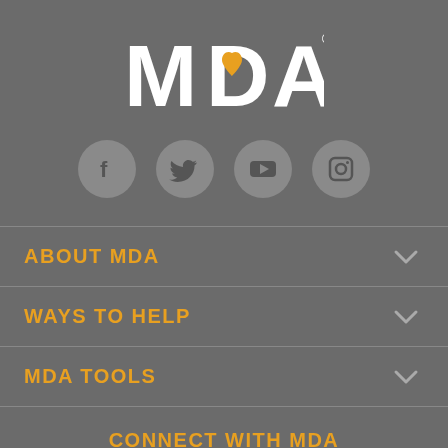[Figure (logo): MDA (Muscular Dystrophy Association) logo in white with an orange heart shape integrated into the letter D]
[Figure (infographic): Four social media icons (Facebook, Twitter, YouTube, Instagram) displayed as circular grey buttons in a row]
ABOUT MDA
WAYS TO HELP
MDA TOOLS
CONNECT WITH MDA
Muscular Dystrophy Association National Office